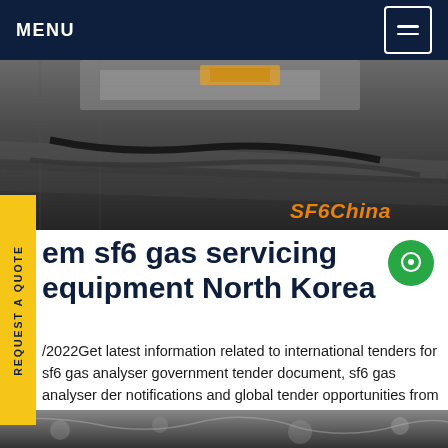MENU
[Figure (photo): Industrial SF6 gas servicing equipment photographed outdoors on pavement, with hoses and tanks visible. Watermark 'SF6China' in orange italic text at bottom-right.]
em sf6 gas servicing equipment North Korea
/2022Get latest information related to international tenders for sf6 gas analyser government tender document, sf6 gas analyser der notifications and global tender opportunities from world wide Ref No Posting Date Deadline Location Value Short DescriptionGet price
[Figure (photo): Partial bottom strip showing another industrial photo.]